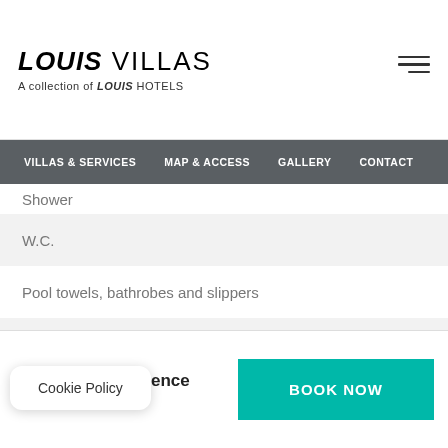[Figure (logo): Louis Villas logo with tagline 'A collection of LOUIS HOTELS']
VILLAS & SERVICES  MAP & ACCESS  GALLERY  CONTACT
Shower
W.C.
Pool towels, bathrobes and slippers
Sunbeds and umbrellas
Jacuzzi (In bathroom)
Telephone
Book with confidence
BOOK NOW
Cookie Policy